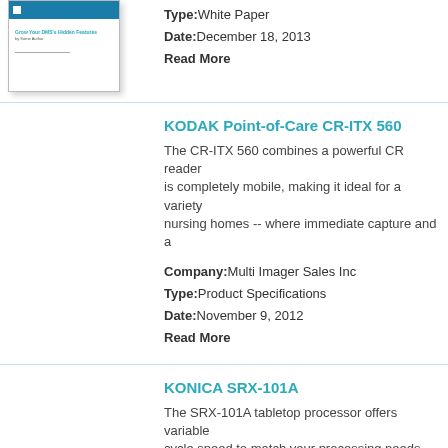[Figure (illustration): Thumbnail of a white paper document with blue header bar and text lines]
Type:White Paper
Date:December 18, 2013
Read More
KODAK Point-of-Care CR-ITX 560
The CR-ITX 560 combines a powerful CR reader is completely mobile, making it ideal for a variety nursing homes -- where immediate capture and a
Company:Multi Imager Sales Inc
Type:Product Specifications
Date:November 9, 2012
Read More
KONICA SRX-101A
The SRX-101A tabletop processor offers variable cycle speed to match your processing needs. Ko Second Super Rapid Processing Cycle; 120 Sec
Company:M D McCauley Co Inc
Type:Product Literature/Brochure